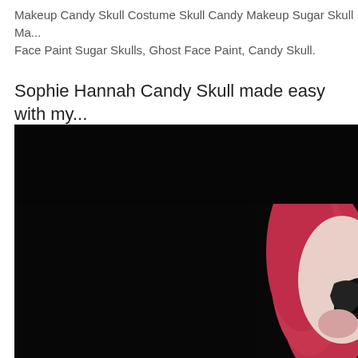Makeup Candy Skull Costume Skull Candy Makeup Sugar Skull Ma... Face Paint Sugar Skulls, Ghost Face Paint, Candy Skull.
Sophie Hannah Candy Skull made easy with my...
[Figure (photo): A person with candy skull makeup against a dark/black background. The person has red/pink hair and green hair visible at top right, with dramatic skull face paint including dark eye makeup. Only the right portion of the face is visible in the frame.]